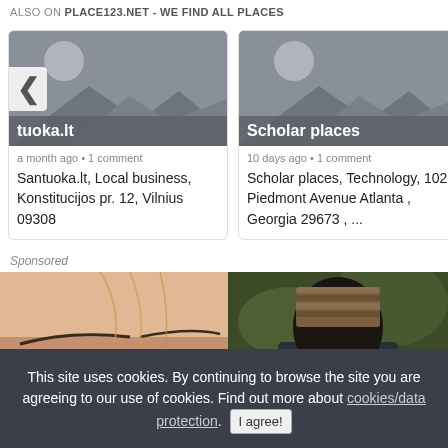ALSO ON PLACE123.NET - WE FIND ALL PLACES
[Figure (screenshot): Card with placeholder landscape image and title 'tuoka.lt' with left arrow navigation button]
a month ago • 1 comment
Santuoka.lt, Local business, Konstitucijos pr. 12, Vilnius 09308
[Figure (screenshot): Card with placeholder landscape image and title 'Scholar places']
10 days ago • 1 comment
Scholar places, Technology, 102 Piedmont Avenue Atlanta , Georgia 29673 , ...
Sponsored
[Figure (photo): Close-up photo of a person's eyes and forehead]
[Figure (photo): Photo of a person wearing a knit hat outdoors]
This site uses cookies. By continuing to browse the site you are agreeing to our use of cookies. Find out more about cookies/data protection. I agree!